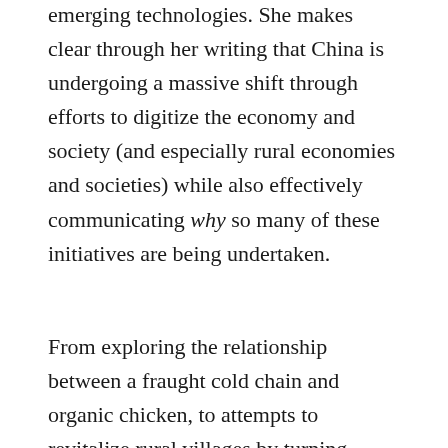emerging technologies. She makes clear through her writing that China is undergoing a massive shift through efforts to digitize the economy and society (and especially rural economies and societies) while also effectively communicating why so many of these initiatives are being undertaken.
From exploring the relationship between a fraught cold chain and organic chicken, to attempts to revitalize rural villages by turning